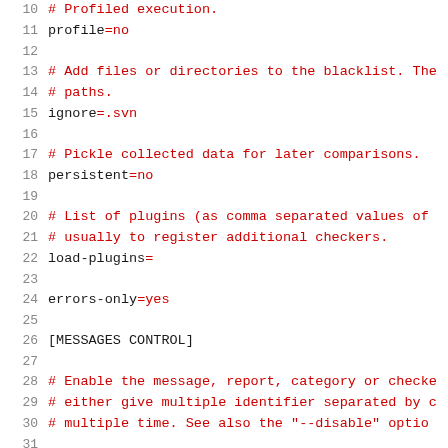10  # Profiled execution.
11  profile=no
12  
13  # Add files or directories to the blacklist. The
14  # paths.
15  ignore=.svn
16  
17  # Pickle collected data for later comparisons.
18  persistent=no
19  
20  # List of plugins (as comma separated values of
21  # usually to register additional checkers.
22  load-plugins=
23  
24  errors-only=yes
25  
26  [MESSAGES CONTROL]
27  
28  # Enable the message, report, category or checke
29  # either give multiple identifier separated by c
30  # multiple time. See also the "--disable" optio
31